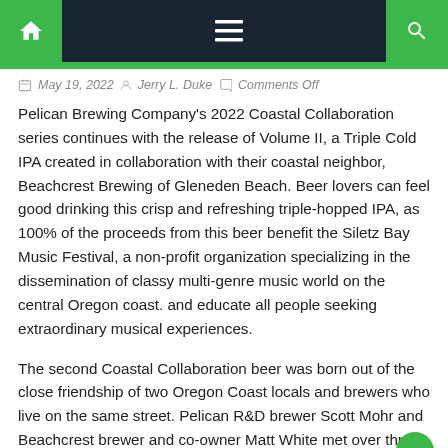Navigation bar with home, menu, and search icons
May 19, 2022   Jerry L. Duke   Comments Off
Pelican Brewing Company's 2022 Coastal Collaboration series continues with the release of Volume II, a Triple Cold IPA created in collaboration with their coastal neighbor, Beachcrest Brewing of Gleneden Beach. Beer lovers can feel good drinking this crisp and refreshing triple-hopped IPA, as 100% of the proceeds from this beer benefit the Siletz Bay Music Festival, a non-profit organization specializing in the dissemination of classy multi-genre music world on the central Oregon coast. and educate all people seeking extraordinary musical experiences.
The second Coastal Collaboration beer was born out of the close friendship of two Oregon Coast locals and brewers who live on the same street. Pelican R&D brewer Scott Mohr and Beachcrest brewer and co-owner Matt White met over three